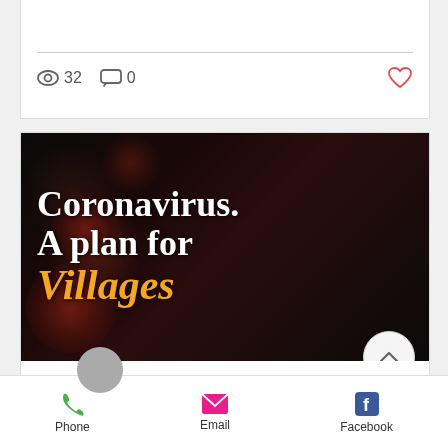[Figure (screenshot): Social media post engagement bar showing 32 views and 0 comments with a heart icon]
[Figure (photo): Blog post thumbnail image with coronavirus particle photo background showing text: 'Coronavirus. A plan for Villages' in white and yellow bold text on dark background]
[Figure (screenshot): Bottom navigation bar with Phone, Email, and Facebook options]